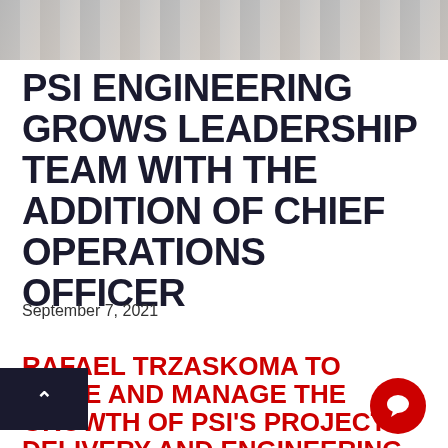[Figure (photo): Decorative photo strip at top of page, showing blurred desk/office items in muted gray tones]
PSI ENGINEERING GROWS LEADERSHIP TEAM WITH THE ADDITION OF CHIEF OPERATIONS OFFICER
September 7, 2021
RAFAEL TRZASKOMA TO DRIVE AND MANAGE THE GROWTH OF PSI'S PROJECT DELIVERY AND ENGINEERING TEAMS.